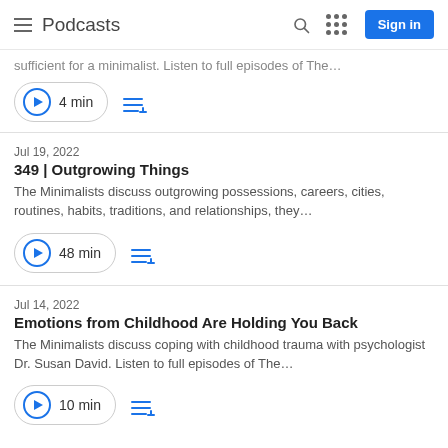Podcasts — Sign in
sufficient for a minimalist. Listen to full episodes of The…
4 min
Jul 19, 2022
349 | Outgrowing Things
The Minimalists discuss outgrowing possessions, careers, cities, routines, habits, traditions, and relationships, they…
48 min
Jul 14, 2022
Emotions from Childhood Are Holding You Back
The Minimalists discuss coping with childhood trauma with psychologist Dr. Susan David. Listen to full episodes of The…
10 min